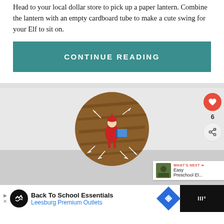Head to your local dollar store to pick up a paper lantern. Combine the lantern with an empty cardboard tube to make a cute swing for your Elf to sit on.
CONTINUE READING
[Figure (photo): Circular cropped photo of an Elf on the Shelf doll lying on a wooden floor next to a book, with white chalk-drawn arrows pointing outward around it. A red heart button and share button are visible on the right sidebar showing count of 6.]
ELF MAKES Q-TIP
[Figure (infographic): Advertisement bar at the bottom: Back To School Essentials - Leesburg Premium Outlets]
WHAT'S NEXT → Easy Preschool El...
Back To School Essentials Leesburg Premium Outlets